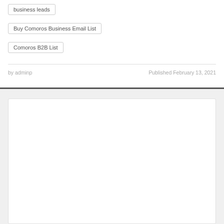business leads
Buy Comoros Business Email List
Comoros B2B List
by adminp
Published February 13, 2021